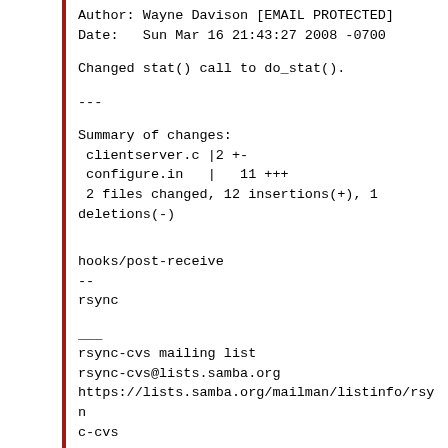Author: Wayne Davison [EMAIL PROTECTED]
Date:   Sun Mar 16 21:43:27 2008 -0700
Changed stat() call to do_stat().
---
Summary of changes:
 clientserver.c |2 +-
 configure.in   |   11 +++
 2 files changed, 12 insertions(+), 1 deletions(-)
hooks/post-receive
--
rsync
___
rsync-cvs mailing list
rsync-cvs@lists.samba.org
https://lists.samba.org/mailman/listinfo/rsync-cvs